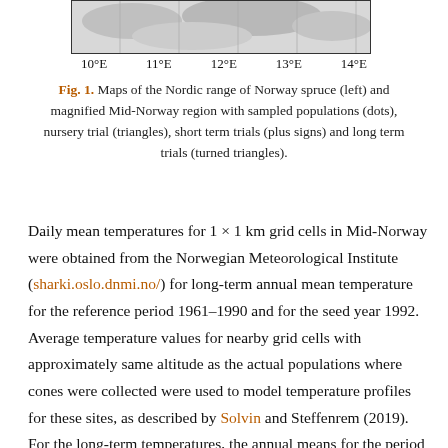[Figure (map): Bottom portion of a map showing longitude axis labels: 10°E, 11°E, 12°E, 13°E, 14°E]
Fig. 1. Maps of the Nordic range of Norway spruce (left) and magnified Mid-Norway region with sampled populations (dots), nursery trial (triangles), short term trials (plus signs) and long term trials (turned triangles).
Daily mean temperatures for 1 × 1 km grid cells in Mid-Norway were obtained from the Norwegian Meteorological Institute (sharki.oslo.dnmi.no/) for long-term annual mean temperature for the reference period 1961–1990 and for the seed year 1992. Average temperature values for nearby grid cells with approximately same altitude as the actual populations where cones were collected were used to model temperature profiles for these sites, as described by Solvin and Steffenrem (2019). For the long-term temperatures, the annual means for the period 1961–1990 varied between 0.7 and 5.1 °C, and the mean